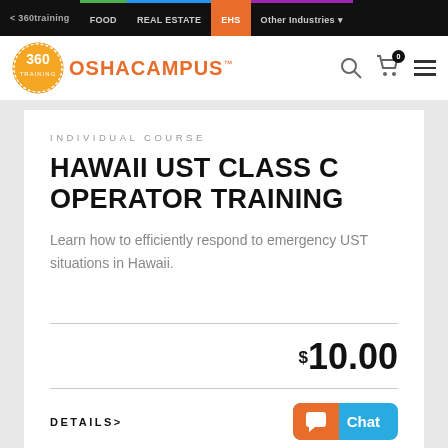< 360training  FOOD  REAL ESTATE  EHS  Other Industries
[Figure (logo): 360 Training OshaCampus logo with orange 360 circular logo and orange OSHACAMPUS text]
INDIVIDUAL COURSE
HAWAII UST CLASS C OPERATOR TRAINING
Learn how to efficiently respond to emergency UST situations in Hawaii.
$10.00
DETAILS>  Chat